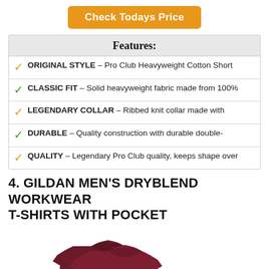Check Todays Price
Features:
ORIGINAL STYLE – Pro Club Heavyweight Cotton Short
CLASSIC FIT – Solid heavyweight fabric made from 100%
LEGENDARY COLLAR – Ribbed knit collar made with
DURABLE – Quality construction with durable double-
QUALITY – Legendary Pro Club quality, keeps shape over
4. GILDAN MEN'S DRYBLEND WORKWEAR T-SHIRTS WITH POCKET
[Figure (photo): Two dark maroon/burgundy short-sleeve t-shirts displayed overlapping each other]